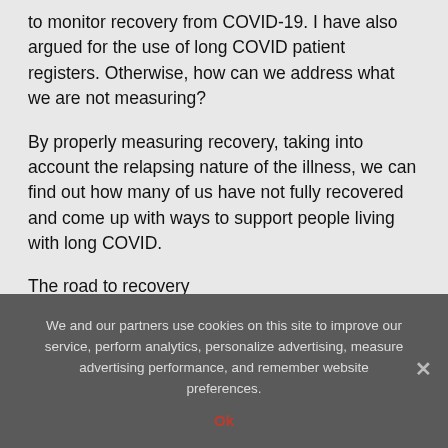to monitor recovery from COVID-19. I have also argued for the use of long COVID patient registers. Otherwise, how can we address what we are not measuring?
By properly measuring recovery, taking into account the relapsing nature of the illness, we can find out how many of us have not fully recovered and come up with ways to support people living with long COVID.
The road to recovery
So what next? I am hopeful that complete recovery is possible for many with long COVID. I am thankfully feeling better now, as I was able to adapt my life to avoid triggering my symptoms.
We and our partners use cookies on this site to improve our service, perform analytics, personalize advertising, measure advertising performance, and remember website preferences.